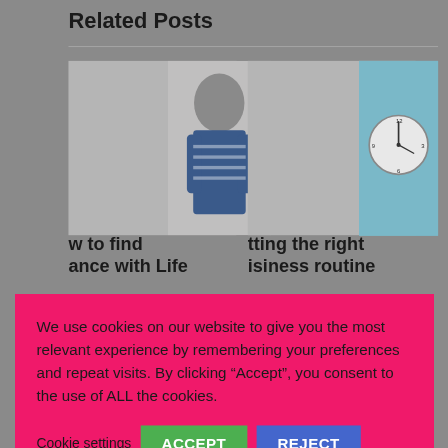Related Posts
[Figure (photo): Left blog post card with partial title 'w to find ance with Life' and photo of a man in striped sweater]
[Figure (photo): Right blog post card with partial title 'tting the right isiness routine' and photo of an alarm clock]
We use cookies on our website to give you the most relevant experience by remembering your preferences and repeat visits. By clicking “Accept”, you consent to the use of ALL the cookies.
Cookie settings
ACCEPT
REJECT
your life and business
March 24th, 2022  |  0 Comments
to get the right routine for you
May 21st, 2020  |  0 Comments